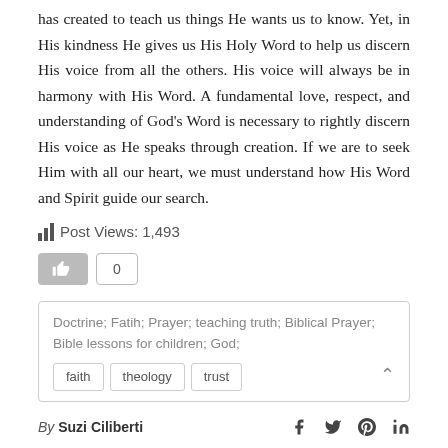has created to teach us things He wants us to know. Yet, in His kindness He gives us His Holy Word to help us discern His voice from all the others. His voice will always be in harmony with His Word. A fundamental love, respect, and understanding of God's Word is necessary to rightly discern His voice as He speaks through creation. If we are to seek Him with all our heart, we must understand how His Word and Spirit guide our search.
Post Views: 1,493
[Figure (infographic): Like button with thumbs up icon and count of 0]
Doctrine; Fatih; Prayer; teaching truth; Biblical Prayer; Bible lessons for children; God;
faith  theology  trust
By Suzi Ciliberti
[Figure (infographic): Social media share icons: Facebook, Twitter, Pinterest, LinkedIn]